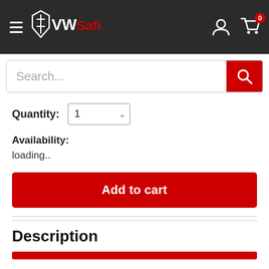VW Safe — navigation header with hamburger menu, logo, user icon, cart icon with badge 0
Search...
Quantity: 1
Availability:
loading..
Add to cart
Description